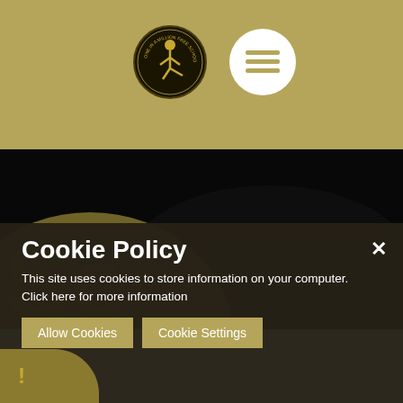[Figure (logo): One in a Million Free School circular logo with dark background and gold figure kicking]
[Figure (illustration): White circle with three gold horizontal lines representing a hamburger menu icon]
[Figure (photo): Dark background section with gold semi-circle and faint watermark text 'Sc...']
Cookie Policy
This site uses cookies to store information on your computer. Click here for more information
Allow Cookies
Cookie Settings